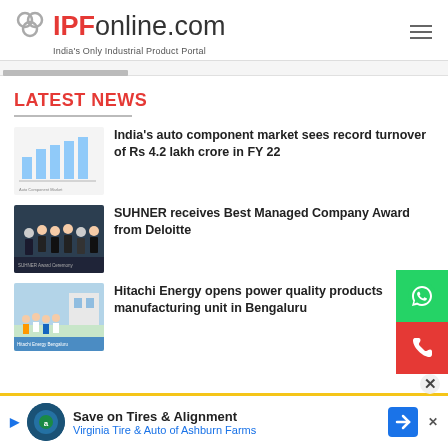IPFonline.com — India's Only Industrial Product Portal
LATEST NEWS
[Figure (screenshot): Bar chart thumbnail for auto component market news]
India's auto component market sees record turnover of Rs 4.2 lakh crore in FY 22
[Figure (photo): Group photo at award ceremony for SUHNER Best Managed Company Award]
SUHNER receives Best Managed Company Award from Deloitte
[Figure (photo): Photo of officials at Hitachi Energy manufacturing unit opening in Bengaluru]
Hitachi Energy opens power quality products manufacturing unit in Bengaluru
[Figure (screenshot): Advertisement: Save on Tires & Alignment — Virginia Tire & Auto of Ashburn Farms]